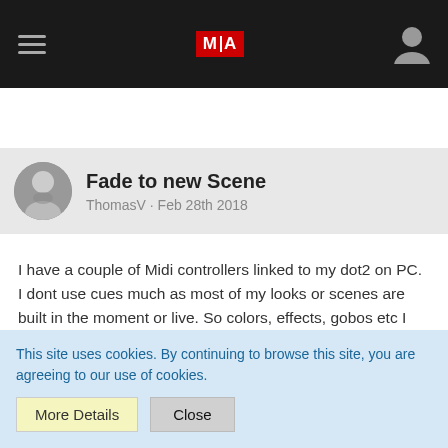MIA - navigation header
Fade to new Scene
ThomasV · Feb 28th 2018
I have a couple of Midi controllers linked to my dot2 on PC. I dont use cues much as most of my looks or scenes are built in the moment or live. So colors, effects, gobos etc I have on faders or executors linked to the midi board. I want to set a executor fade time to a fader that will not take priority over my current look. Allowing me to punch in all my new values as the current show is playing, once I'm ready for the new look all I have to do is throw down a fader and it goes to the new look. Cant seem to figure this one out, so any help would be greatly appreciated.
This site uses cookies. By continuing to browse this site, you are agreeing to our use of cookies.